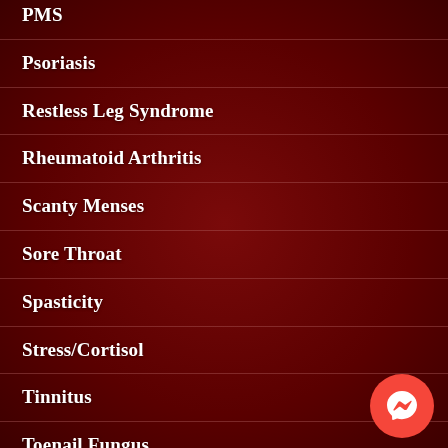PMS
Psoriasis
Restless Leg Syndrome
Rheumatoid Arthritis
Scanty Menses
Sore Throat
Spasticity
Stress/Cortisol
Tinnitus
Toenail Fungus
Ulcerative Colitis
[Figure (logo): Facebook Messenger icon button, circular red background with white lightning bolt/chat icon]